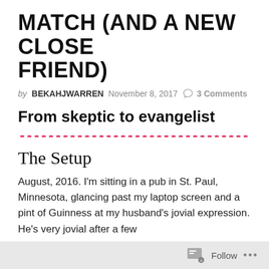MATCH (AND A NEW CLOSE FRIEND)
by BEKAHJWARREN   November 8, 2017   3 Comments
From skeptic to evangelist
The Setup
August, 2016. I'm sitting in a pub in St. Paul, Minnesota, glancing past my laptop screen and a pint of Guinness at my husband's jovial expression. He's very jovial after a few
Follow ...